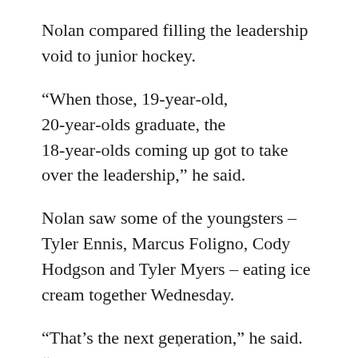Nolan compared filling the leadership void to junior hockey.
“When those, 19-year-old, 20-year-olds graduate, the 18-year-olds coming up got to take over the leadership,” he said.
Nolan saw some of the youngsters – Tyler Ennis, Marcus Foligno, Cody Hodgson and Tyler Myers – eating ice cream together Wednesday.
“That’s the next generation,” he said. “They’re quality kids and they’re quality players. They’re something to really look forward to.”
v